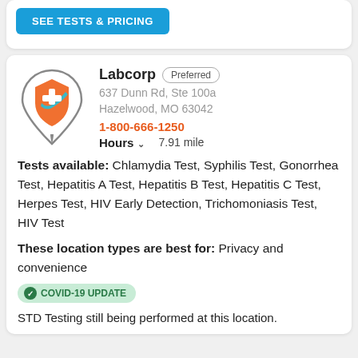[Figure (screenshot): Blue 'SEE TESTS & PRICING' button at top of page]
Labcorp Preferred
637 Dunn Rd, Ste 100a
Hazelwood, MO 63042
1-800-666-1250
Hours 7.91 mile
Tests available: Chlamydia Test, Syphilis Test, Gonorrhea Test, Hepatitis A Test, Hepatitis B Test, Hepatitis C Test, Herpes Test, HIV Early Detection, Trichomoniasis Test, HIV Test
These location types are best for: Privacy and convenience
COVID-19 UPDATE STD Testing still being performed at this location.